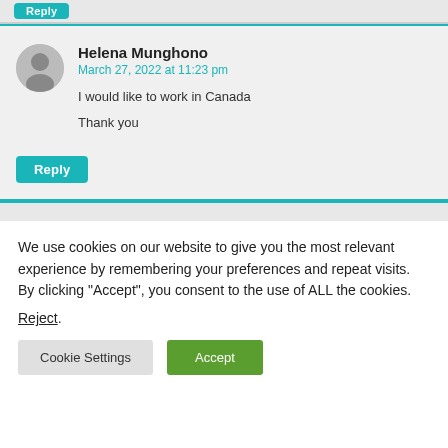Reply
Helena Munghono
March 27, 2022 at 11:23 pm
I would like to work in Canada
Thank you
Reply
We use cookies on our website to give you the most relevant experience by remembering your preferences and repeat visits. By clicking “Accept”, you consent to the use of ALL the cookies.
Reject.
Cookie Settings  Accept